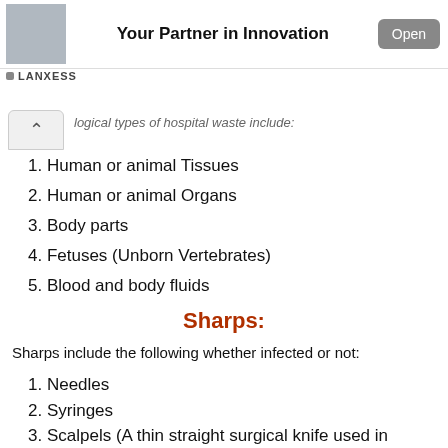[Figure (other): Advertisement banner with building/car image, text 'Your Partner in Innovation', and Open button. Source: LANXESS]
…logical types of hospital waste include:
1. Human or animal Tissues
2. Human or animal Organs
3. Body parts
4. Fetuses (Unborn Vertebrates)
5. Blood and body fluids
Sharps:
Sharps include the following whether infected or not:
1. Needles
2. Syringes
3. Scalpels (A thin straight surgical knife used in dissection and surgery)
4. Infusion sets